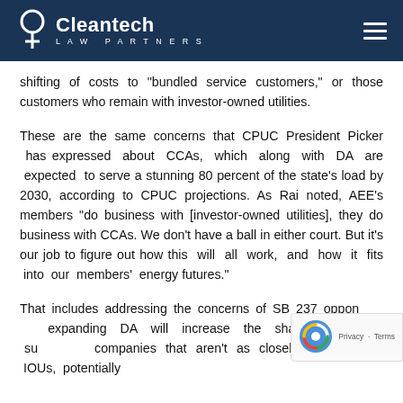Cleantech Law Partners
shifting of costs to “bundled service customers,” or those customers who remain with investor-owned utilities.
These are the same concerns that CPUC President Picker has expressed about CCAs, which along with DA are expected to serve a stunning 80 percent of the state’s load by 2030, according to CPUC projections. As Rai noted, AEE’s members “do business with [investor-owned utilities], they do business with CCAs. We don't have a ball in either court. But it's our job to figure out how this will all work, and how it fits into our members' energy futures.”
That includes addressing the concerns of SB 237 opponents that expanding DA will increase the share of energy supplied by companies that aren’t as closely regulated as IOUs, potentially